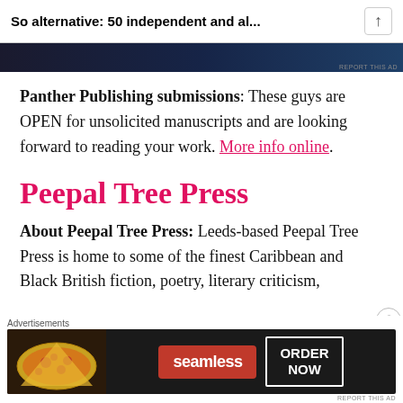So alternative: 50 independent and al...
[Figure (screenshot): Dark advertisement banner at top of page]
Panther Publishing submissions: These guys are OPEN for unsolicited manuscripts and are looking forward to reading your work. More info online.
Peepal Tree Press
About Peepal Tree Press: Leeds-based Peepal Tree Press is home to some of the finest Caribbean and Black British fiction, poetry, literary criticism,
[Figure (screenshot): Seamless food delivery advertisement banner at bottom of page with pizza image, seamless logo, and ORDER NOW button]